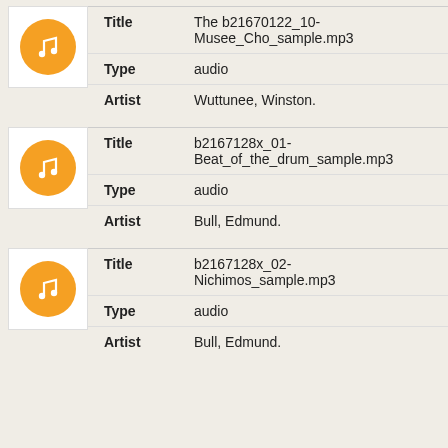| Field | Value |
| --- | --- |
| Title | The b21670122_10-Musee_Cho_sample.mp3 |
| Type | audio |
| Artist | Wuttunee, Winston. |
| Field | Value |
| --- | --- |
| Title | b2167128x_01-Beat_of_the_drum_sample.mp3 |
| Type | audio |
| Artist | Bull, Edmund. |
| Field | Value |
| --- | --- |
| Title | b2167128x_02-Nichimos_sample.mp3 |
| Type | audio |
| Artist | Bull, Edmund. |